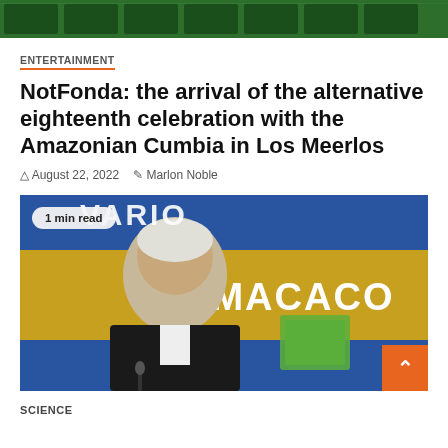[Figure (photo): Green decorative image strip at top of page]
ENTERTAINMENT
NotFonda: the arrival of the alternative eighteenth celebration with the Amazonian Cumbia in Los Meerlos
August 22, 2022   Marlon Noble
[Figure (photo): Man in dark suit speaking at a podium with blue and gold banner reading 'Los Macacos' in the background. Badge overlay reads '1 min read'. Orange back-to-top button in bottom right corner.]
SCIENCE